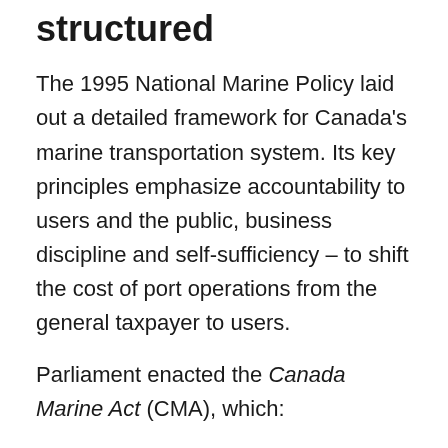structured
The 1995 National Marine Policy laid out a detailed framework for Canada's marine transportation system. Its key principles emphasize accountability to users and the public, business discipline and self-sufficiency – to shift the cost of port operations from the general taxpayer to users.
Parliament enacted the Canada Marine Act (CMA), which:
created 17 Canada Port Authorities; and
designated several other ports as Public